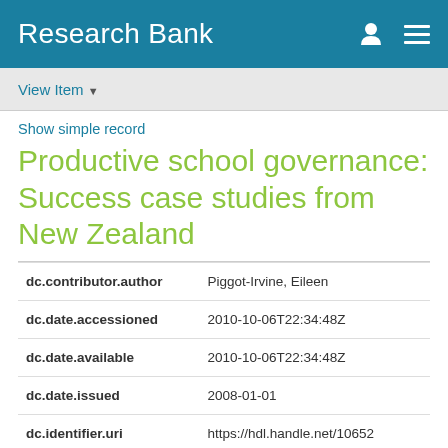Research Bank
View Item
Show simple record
Productive school governance: Success case studies from New Zealand
| Field | Value |
| --- | --- |
| dc.contributor.author | Piggot-Irvine, Eileen |
| dc.date.accessioned | 2010-10-06T22:34:48Z |
| dc.date.available | 2010-10-06T22:34:48Z |
| dc.date.issued | 2008-01-01 |
| dc.identifier.uri | https://hdl.handle.net/10652 |